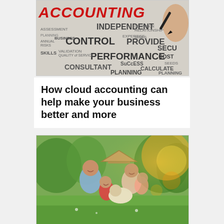[Figure (illustration): Accounting-themed word cloud with bold red 'ACCOUNTING' title at top, business terms like INDEPENDENT, CONTROL, PROVIDE, PERFORMANCE, CONSULTANT, PLANNING, SUCCESS, CALCULATE, VALIDATION, SKILLS, ASSESSMENT, RISKS, COST scattered in various sizes, with a hand holding a black pen on the right side]
How cloud accounting can help make your business better and more
[Figure (photo): Happy family of four (man, woman, young boy, older girl) smiling outdoors in a park, holding a cardboard house roof shape over their heads, with a golden retriever dog, green grass and trees with sun flare in background]